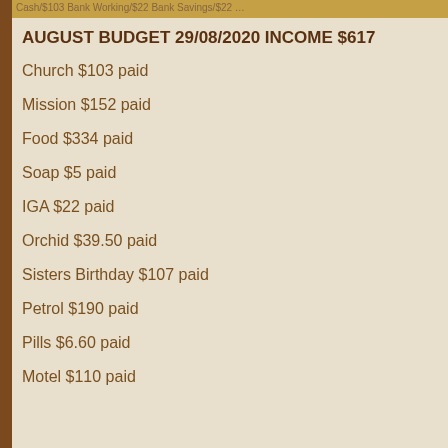Cash/$103 Bank Working/$22 Bank Savings/$22 …
AUGUST BUDGET 29/08/2020 INCOME $617
Church $103 paid
Mission $152 paid
Food $334 paid
Soap $5 paid
IGA $22 paid
Orchid $39.50 paid
Sisters Birthday $107 paid
Petrol $190 paid
Pills $6.60 paid
Motel $110 paid